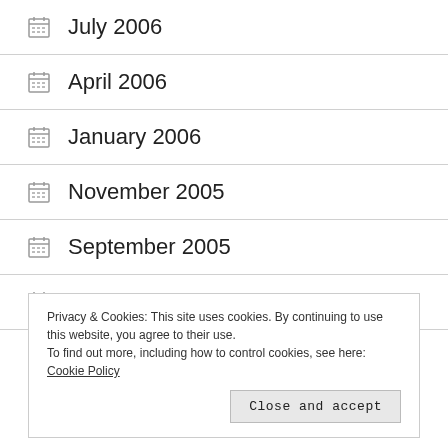July 2006
April 2006
January 2006
November 2005
September 2005
March 2005
February 2005
Privacy & Cookies: This site uses cookies. By continuing to use this website, you agree to their use.
To find out more, including how to control cookies, see here: Cookie Policy
Close and accept